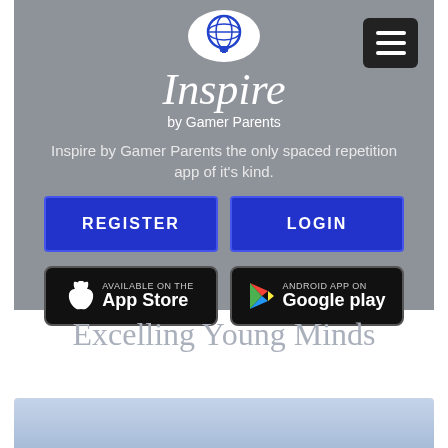[Figure (screenshot): App homepage screenshot showing Inspire by Gamer Parents branding with logo, navigation menu button, tagline, Register and Login buttons, and App Store / Google Play badges on a grey background]
Excelling Young Minds
[Figure (photo): Partial screenshot of next section with blue-grey gradient background]